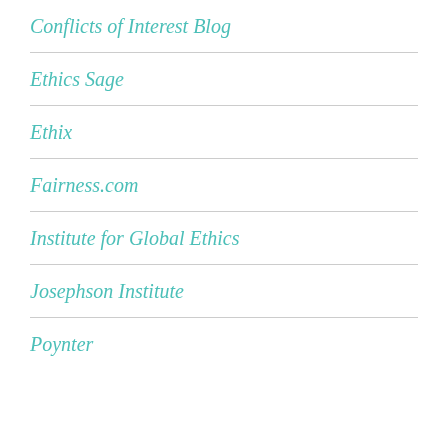Conflicts of Interest Blog
Ethics Sage
Ethix
Fairness.com
Institute for Global Ethics
Josephson Institute
Poynter